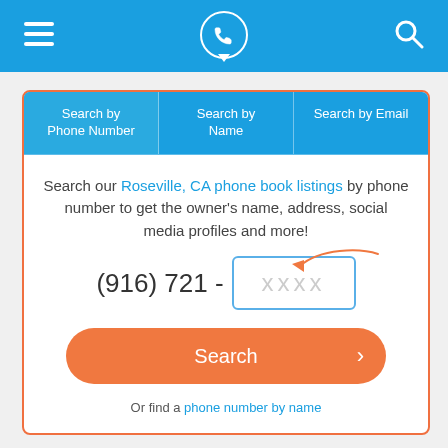[Figure (screenshot): Mobile app navigation bar with hamburger menu icon on left, phone/location icon in center, and search magnifier icon on right, all on blue background]
Search by Phone Number | Search by Name | Search by Email
Search our Roseville, CA phone book listings by phone number to get the owner's name, address, social media profiles and more!
(916) 721 - xxxx
Search
Or find a phone number by name